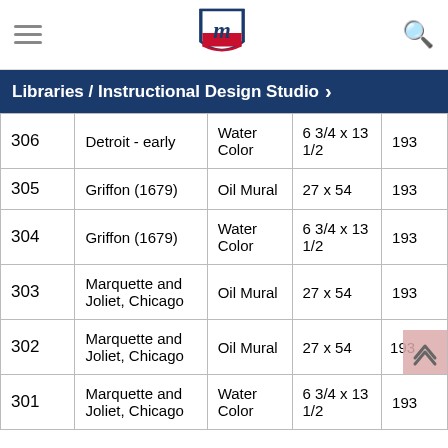Libraries / Instructional Design Studio
| # | Title | Medium | Size | Year |
| --- | --- | --- | --- | --- |
| 306 | Detroit - early | Water Color | 6 3/4 x 13 1/2 | 193 |
| 305 | Griffon (1679) | Oil Mural | 27 x 54 | 193 |
| 304 | Griffon (1679) | Water Color | 6 3/4 x 13 1/2 | 193 |
| 303 | Marquette and Joliet, Chicago | Oil Mural | 27 x 54 | 193 |
| 302 | Marquette and Joliet, Chicago | Oil Mural | 27 x 54 | 193 |
| 301 | Marquette and Joliet, Chicago | Water Color | 6 3/4 x 13 1/2 | 193 |